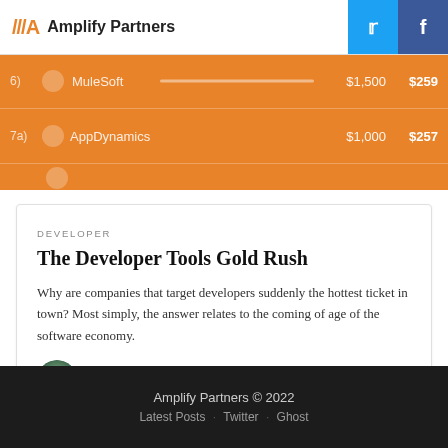Amplify Partners
|  |  | Valuation | ARR |
| --- | --- | --- | --- |
| 6) | MuleSoft | $1,500 | $259 |
| 7a) | AppDynamics | $1,000 | $257 |
DEVELOPER
The Developer Tools Gold Rush
Why are companies that target developers suddenly the hottest ticket in town? Most simply, the answer relates to the coming of age of the software economy.
3 MIN READ
Amplify Partners © 2022 · Latest Posts · Twitter · Ghost